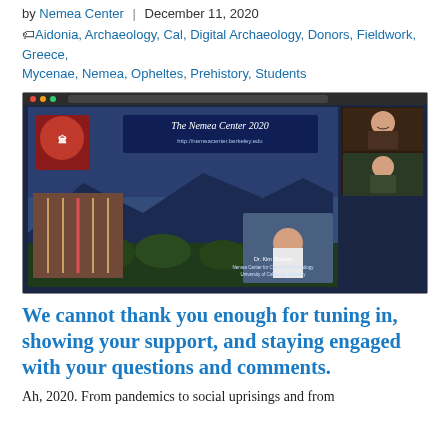by Nemea Center | December 11, 2020
Aidonia, Archaeology, Cal, Digital Archaeology, Donors, Fieldwork, Greece, Mycenae, Nemea, Opheltes, Prehistory, Students
[Figure (screenshot): Screenshot of a Zoom video call showing a presentation slide titled 'The Nemea Center 2020' with a landscape image of olive groves and mountains at sunset, a logo, and photos. The presenter is Dr. Kim Shelton, Nemea Center for Classical Archaeology, University of California, Berkeley. Two video participants are visible in the top right corner.]
We cannot thank you enough for tuning in, showing your support, and staying engaged with your questions and comments.
Ah, 2020. From pandemics to social uprisings and from